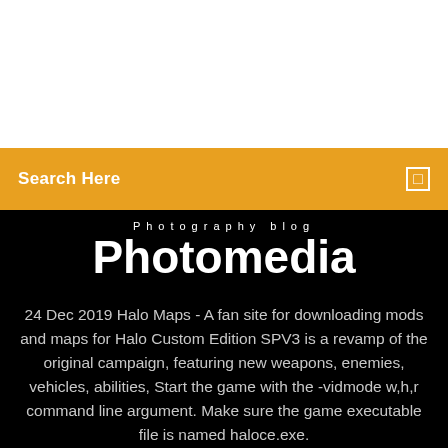[Figure (other): White blank area at top of page]
Search Here
Photography blog
Photomedia
24 Dec 2019 Halo Maps - A fan site for downloading mods and maps for Halo Custom Edition SPV3 is a revamp of the original campaign, featuring new weapons, enemies, vehicles, abilities, Start the game with the -vidmode w,h,r command line argument. Make sure the game executable file is named haloce.exe.